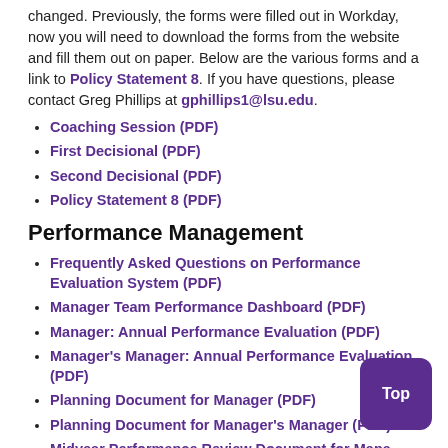changed. Previously, the forms were filled out in Workday, now you will need to download the forms from the website and fill them out on paper. Below are the various forms and a link to Policy Statement 8. If you have questions, please contact Greg Phillips at gphillips1@lsu.edu.
Coaching Session (PDF)
First Decisional (PDF)
Second Decisional (PDF)
Policy Statement 8 (PDF)
Performance Management
Frequently Asked Questions on Performance Evaluation System (PDF)
Manager Team Performance Dashboard (PDF)
Manager: Annual Performance Evaluation (PDF)
Manager's Manager: Annual Performance Evaluation (PDF)
Planning Document for Manager (PDF)
Planning Document for Manager's Manager (PDF)
Midyear Performance Review Document for Manager (PDF)
Time and Absence: Absence